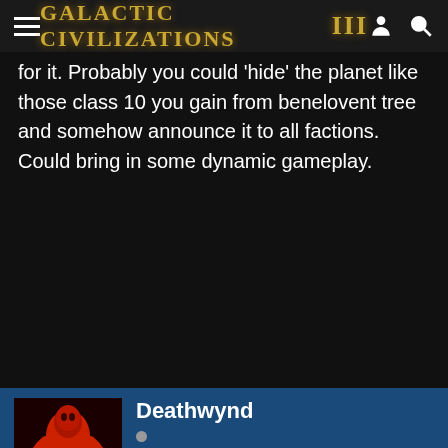Galactic Civilizations III
for it. Probably you could 'hide' the planet like those class 10 you gain from benelovent tree and somehow announce it to all factions. Could bring in some dynamic gameplay.
Deathwynd +18 Reply #17 July 8, 2015 10:11:11 AM
Hrm I don't monkey with the AI much and tbh been modding so much lately havent had much time for gameplay.
Depending on the world the negative might be enough to weight it such that they ignore it, both the Industrial and Military...